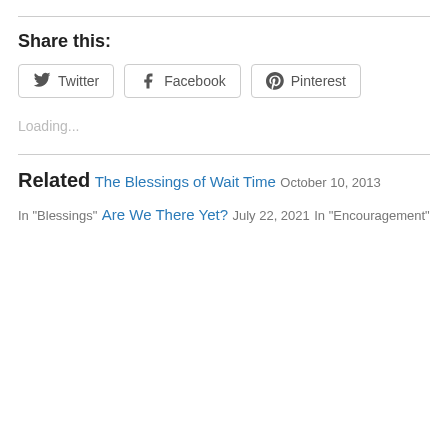Share this:
Twitter  Facebook  Pinterest
Loading...
Related
The Blessings of Wait Time
October 10, 2013
In "Blessings"
Are We There Yet?
July 22, 2021
In "Encouragement"